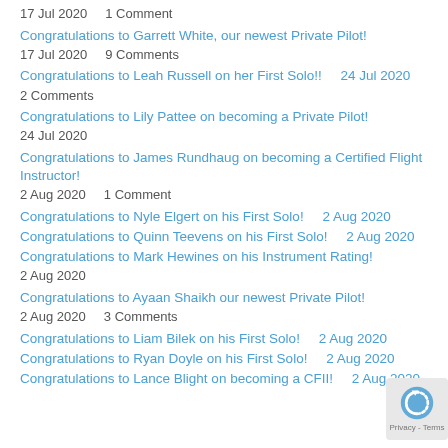17 Jul 2020    1 Comment
Congratulations to Garrett White, our newest Private Pilot!
17 Jul 2020    9 Comments
Congratulations to Leah Russell on her First Solo!!    24 Jul 2020
2 Comments
Congratulations to Lily Pattee on becoming a Private Pilot!
24 Jul 2020
Congratulations to James Rundhaug on becoming a Certified Flight Instructor!
2 Aug 2020    1 Comment
Congratulations to Nyle Elgert on his First Solo!    2 Aug 2020
Congratulations to Quinn Teevens on his First Solo!    2 Aug 2020
Congratulations to Mark Hewines on his Instrument Rating!
2 Aug 2020
Congratulations to Ayaan Shaikh our newest Private Pilot!
2 Aug 2020    3 Comments
Congratulations to Liam Bilek on his First Solo!    2 Aug 2020
Congratulations to Ryan Doyle on his First Solo!    2 Aug 2020
Congratulations to Lance Blight on becoming a CFII!    2 Aug 2020